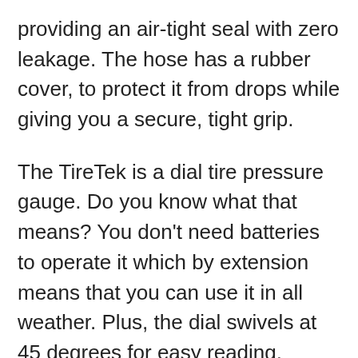providing an air-tight seal with zero leakage. The hose has a rubber cover, to protect it from drops while giving you a secure, tight grip.
The TireTek is a dial tire pressure gauge. Do you know what that means? You don't need batteries to operate it which by extension means that you can use it in all weather. Plus, the dial swivels at 45 degrees for easy reading.
The relief valve enables you to press down pressure without removing the gauge on